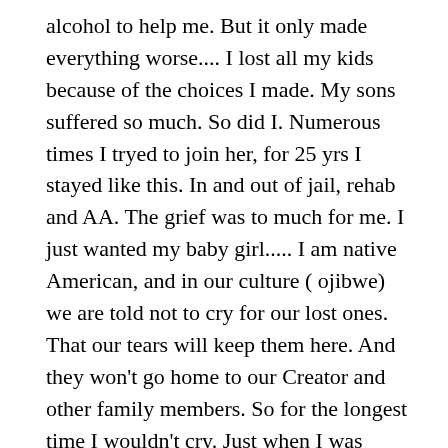alcohol to help me. But it only made everything worse.... I lost all my kids because of the choices I made. My sons suffered so much. So did I. Numerous times I tryed to join her, for 25 yrs I stayed like this. In and out of jail, rehab and AA. The grief was to much for me. I just wanted my baby girl..... I am native American, and in our culture ( ojibwe) we are told not to cry for our lost ones. That our tears will keep them here. And they won't go home to our Creator and other family members. So for the longest time I wouldn't cry. Just when I was drunk or high. Then I would feel guilt and shame for crying and trying to keep her here. I would then turn to drugs an alcohol for relief from that guilt an shame. So it would start all over again. These